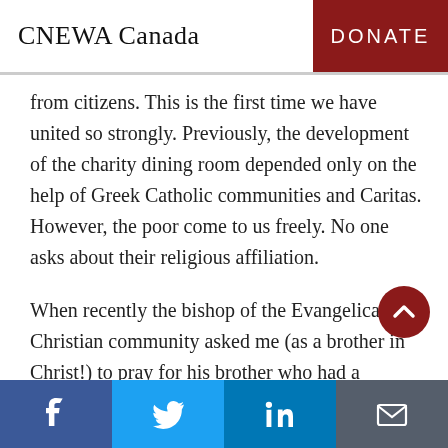CNEWA Canada | DONATE
from citizens. This is the first time we have united so strongly. Previously, the development of the charity dining room depended only on the help of Greek Catholic communities and Caritas. However, the poor come to us freely. No one asks about their religious affiliation.
When recently the bishop of the Evangelical Christian community asked me (as a brother in Christ!) to pray for his brother who had a strok… I felt that this was a big step forward. There was a joint prayer among members of different
Facebook | Twitter | LinkedIn | Email